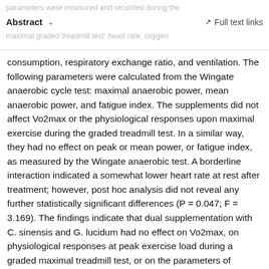parameters were measured and recorded during the maximal graded treadmill test: heart rate, oxygen consumption — Abstract | Full text links
consumption, respiratory exchange ratio, and ventilation. The following parameters were calculated from the Wingate anaerobic cycle test: maximal anaerobic power, mean anaerobic power, and fatigue index. The supplements did not affect Vo2max or the physiological responses upon maximal exercise during the graded treadmill test. In a similar way, they had no effect on peak or mean power, or fatigue index, as measured by the Wingate anaerobic test. A borderline interaction indicated a somewhat lower heart rate at rest after treatment; however, post hoc analysis did not reveal any further statistically significant differences (P = 0.047; F = 3.169). The findings indicate that dual supplementation with C. sinensis and G. lucidum had no effect on Vo2max, on physiological responses at peak exercise load during a graded maximal treadmill test, or on the parameters of anaerobic capacity.